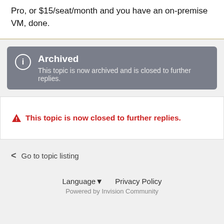Pro, or $15/seat/month and you have an on-premise VM, done.
Archived
This topic is now archived and is closed to further replies.
⚠ This topic is now closed to further replies.
< Go to topic listing
Language ▾   Privacy Policy
Powered by Invision Community